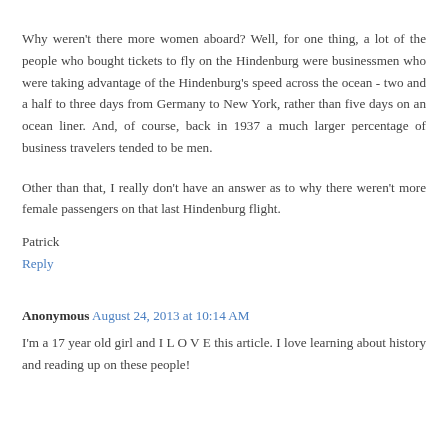Why weren't there more women aboard? Well, for one thing, a lot of the people who bought tickets to fly on the Hindenburg were businessmen who were taking advantage of the Hindenburg's speed across the ocean - two and a half to three days from Germany to New York, rather than five days on an ocean liner. And, of course, back in 1937 a much larger percentage of business travelers tended to be men.
Other than that, I really don't have an answer as to why there weren't more female passengers on that last Hindenburg flight.
Patrick
Reply
Anonymous August 24, 2013 at 10:14 AM
I'm a 17 year old girl and I L O V E this article. I love learning about history and reading up on these people!